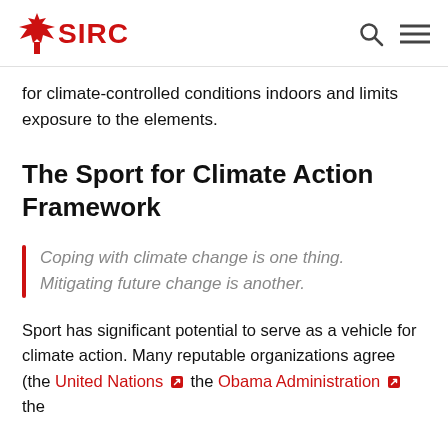SIRC
for climate-controlled conditions indoors and limits exposure to the elements.
The Sport for Climate Action Framework
Coping with climate change is one thing. Mitigating future change is another.
Sport has significant potential to serve as a vehicle for climate action. Many reputable organizations agree (the United Nations, the Obama Administration, the